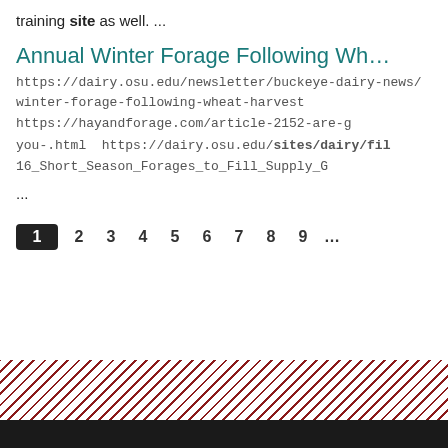training site as well. ...
Annual Winter Forage Following Wh…
https://dairy.osu.edu/newsletter/buckeye-dairy-news/winter-forage-following-wheat-harvest https://hayandforage.com/article-2152-are-good-you-.html https://dairy.osu.edu/sites/dairy/fil 16_Short_Season_Forages_to_Fill_Supply_G
...
1 2 3 4 5 6 7 8 9 …